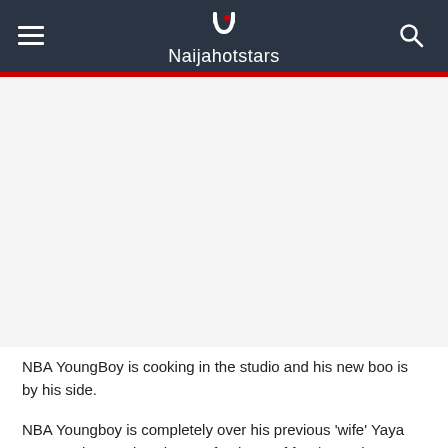Naijahotstars
[Figure (photo): Image placeholder / article image area (white/light gray background, no visible image content)]
NBA YoungBoy is cooking in the studio and his new boo is by his side.
NBA Youngboy is completely over his previous 'wife' Yaya Mayweather, and we have a fresh set of feet/toes pics to prove it. The mystery light skinned feet dressed up with sweats, and white